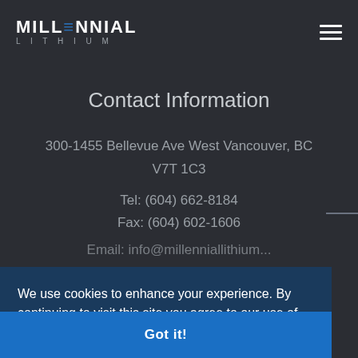[Figure (logo): Millennial Lithium logo — wordmark in white uppercase with stylized blue bars in the E letters]
Contact Information
300-1455 Bellevue Ave West Vancouver, BC V7T 1C3
Tel: (604) 662-8184
Fax: (604) 602-1606
Email: info@millenniallithium...
We use cookies to enhance your experience. By continuing to visit this site you agree to our use of cookies.
Got it!